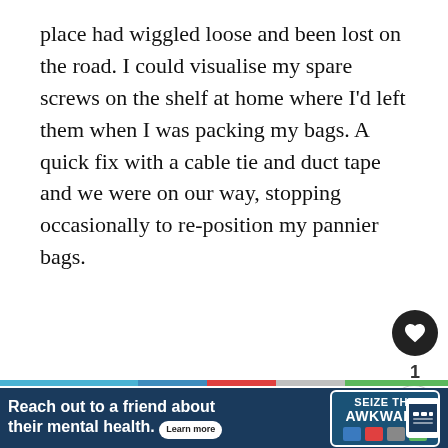place had wiggled loose and been lost on the road. I could visualise my spare screws on the shelf at home where I'd left them when I was packing my bags. A quick fix with a cable tie and duct tape and we were on our way, stopping occasionally to re-position my pannier bags.
[Figure (screenshot): Social media UI: heart/like button (dark circle with heart icon), like count showing '1', and share button (circle with share icon)]
[Figure (screenshot): Navigation dots (3 grey circles) and 'WHAT'S NEXT' thumbnail with text 'Mountain Biking [Most...']
[Figure (screenshot): Advertisement banner: 'Reach out to a friend about their mental health. Learn more' with 'SEIZE THE AWKWARD' badge and logos, on dark blue background]